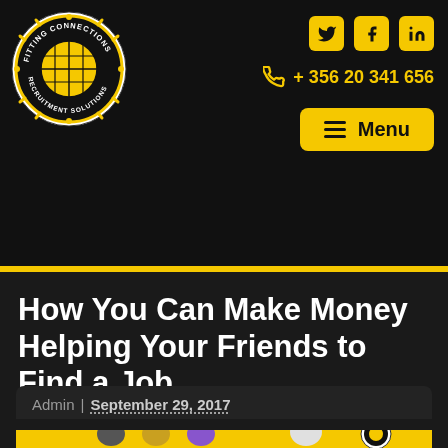Fitting Connections Recruitment Solutions | Twitter | Facebook | LinkedIn | +356 20 341 656 | Menu
How You Can Make Money Helping Your Friends to Find a Job
Admin | September 29, 2017
[Figure (illustration): Yellow background illustration showing cartoon people figures with a speech bubble containing the Fitting Connections Recruitment Solutions globe logo]